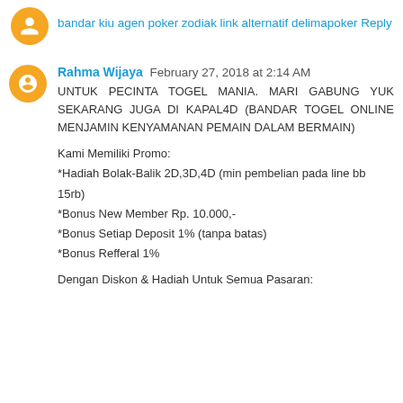bandar kiu
agen poker
zodiak
link alternatif delimapoker
Reply
Rahma Wijaya  February 27, 2018 at 2:14 AM
UNTUK PECINTA TOGEL MANIA. MARI GABUNG YUK SEKARANG JUGA DI KAPAL4D (BANDAR TOGEL ONLINE MENJAMIN KENYAMANAN PEMAIN DALAM BERMAIN)
Kami Memiliki Promo:
*Hadiah Bolak-Balik 2D,3D,4D (min pembelian pada line bb 15rb)
*Bonus New Member Rp. 10.000,-
*Bonus Setiap Deposit 1% (tanpa batas)
*Bonus Refferal 1%
Dengan Diskon & Hadiah Untuk Semua Pasaran: